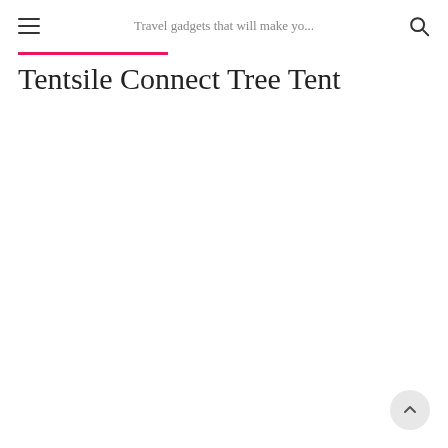Travel gadgets that will make yo...
Tentsile Connect Tree Tent